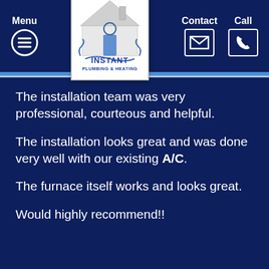[Figure (logo): Instant Plumbing & Heating logo — house with chimney and plumbing elements, blue and white text on white background, hanging from chains in a dark blue navigation header]
Menu  Contact  Call
The installation team was very professional, courteous and helpful.
The installation looks great and was done very well with our existing A/C.
The furnace itself works and looks great.
Would highly recommend!!